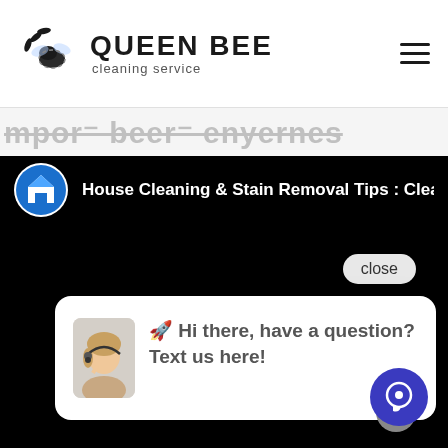[Figure (logo): Queen Bee Cleaning Service logo with bee icon and text]
House Cleaning & Stain Removal Tips : Clean Vin
[Figure (screenshot): Chat popup with close button, avatar of woman with headset, and message: Hi there, have a question? Text us here!]
close
👩 Hi there, have a question? Text us here!